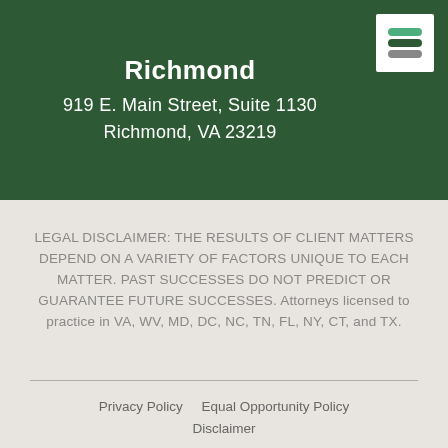Richmond
919 E. Main Street, Suite 1130
Richmond, VA 23219
[Figure (logo): Law firm logo with three horizontal colored bars (green, dark green, gray) on white background]
LEGAL DISCLAIMER: THE RESULTS OF CLIENT MATTERS DEPEND ON A VARIETY OF FACTORS UNIQUE TO EACH MATTER. PAST SUCCESSES DO NOT PREDICT OR GUARANTEE FUTURE SUCCESSES. Attorneys licensed to practice in VA, WV, MD, DC, NC, TN, FL, NY, CT, and TX.
Privacy Policy    Equal Opportunity Policy    Disclaimer